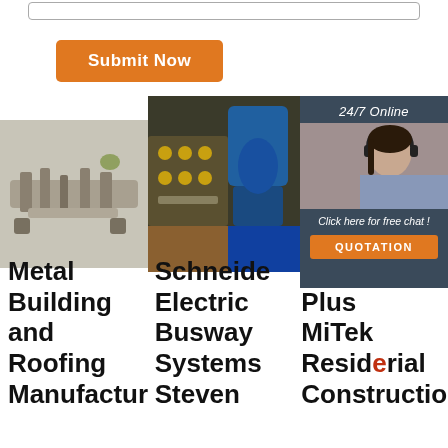[Figure (other): Top border of a textarea form field visible at very top of page]
[Figure (other): Orange Submit Now button]
[Figure (photo): Three images side by side: a roll forming machine, industrial machinery with blue motors, and a customer service woman wearing a headset with 24/7 Online and chat/quotation overlay panel]
Metal Building and Roofing Manufactur
Schneide Electric Busway Systems Steven
Pa Plus MiTek Residential Constructio